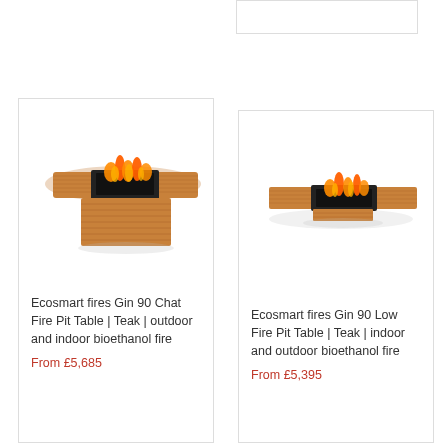[Figure (other): Partial product card remnant at top right]
[Figure (photo): Ecosmart fires Gin 90 Chat Fire Pit Table in Teak - rectangular teak fire pit table with flames visible in center burner, elevated on slatted teak base block]
Ecosmart fires Gin 90 Chat Fire Pit Table | Teak | outdoor and indoor bioethanol fire
From £5,685
[Figure (photo): Ecosmart fires Gin 90 Low Fire Pit Table in Teak - low-profile rectangular teak fire pit table with flames in center burner, thin flat base]
Ecosmart fires Gin 90 Low Fire Pit Table | Teak | indoor and outdoor bioethanol fire
From £5,395